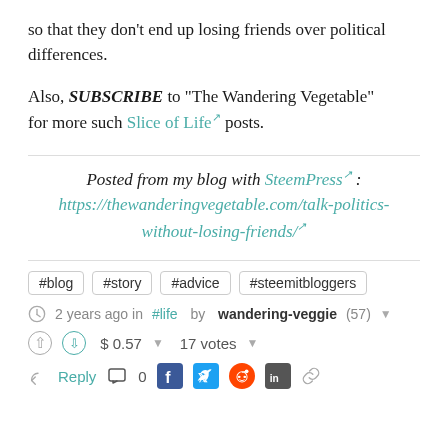so that they don't end up losing friends over political differences.
Also, SUBSCRIBE to "The Wandering Vegetable" for more such Slice of Life posts.
Posted from my blog with SteemPress : https://thewanderingvegetable.com/talk-politics-without-losing-friends/
#blog
#story
#advice
#steemitbloggers
2 years ago in #life by wandering-veggie (57)
$ 0.57   17 votes
Reply   0